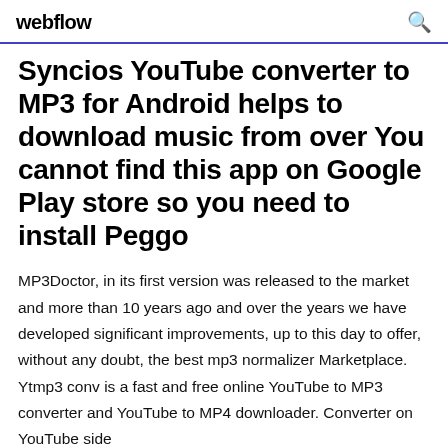webflow
Syncios YouTube converter to MP3 for Android helps to download music from over You cannot find this app on Google Play store so you need to install Peggo
MP3Doctor, in its first version was released to the market and more than 10 years ago and over the years we have developed significant improvements, up to this day to offer, without any doubt, the best mp3 normalizer Marketplace. Ytmp3 conv is a fast and free online YouTube to MP3 converter and YouTube to MP4 downloader. Converter on YouTube side